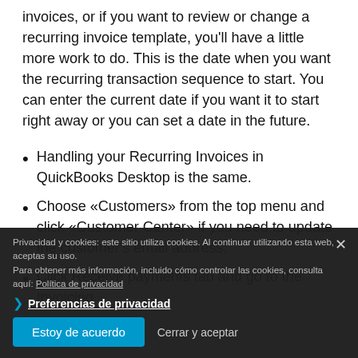invoices, or if you want to review or change a recurring invoice template, you'll have a little more work to do. This is the date when you want the recurring transaction sequence to start. You can enter the current date if you want it to start right away or you can set a date in the future.
Handling your Recurring Invoices in QuickBooks Desktop is the same.
Choose «Customers» from the top menu and click «Customer Center» if you need to update the customer's email address.
Click Receive payments tab and go to the Invoicing
Privacidad y cookies: este sitio utiliza cookies. Al continuar utilizando esta web, aceptas su uso.
Para obtener más información, incluido cómo controlar las cookies, consulta aquí: Política de cookies
Preferencias de privacidad
Estoy de acuerdo
Cerrar y aceptar